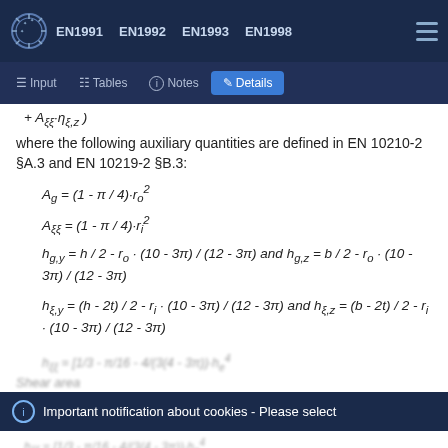EN1991 EN1992 EN1993 EN1998
Input | Tables | Notes | Details
where the following auxiliary quantities are defined in EN 10210-2 §A.3 and EN 10219-2 §B.3:
Important notification about cookies - Please select
Shear area
We use cookies to deliver the best possible user experience, to collect anonymous statistical data about our web traffic, and to display relevant ads. Click "Accept" if you agree or click "Manage" to learn more and customize cookies. You can modify your selection later.